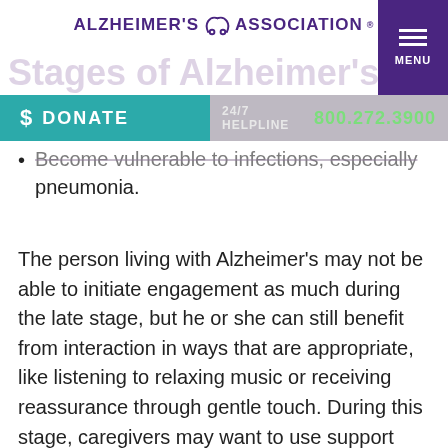ALZHEIMER'S ASSOCIATION
Become vulnerable to infections, especially pneumonia.
The person living with Alzheimer's may not be able to initiate engagement as much during the late stage, but he or she can still benefit from interaction in ways that are appropriate, like listening to relaxing music or receiving reassurance through gentle touch. During this stage, caregivers may want to use support services, such as hospice care, which focus on providing comfort and dignity at the end of life. Hospice can be of great benefit to people in the final stages of Alzheimer's and other dementias and their families.